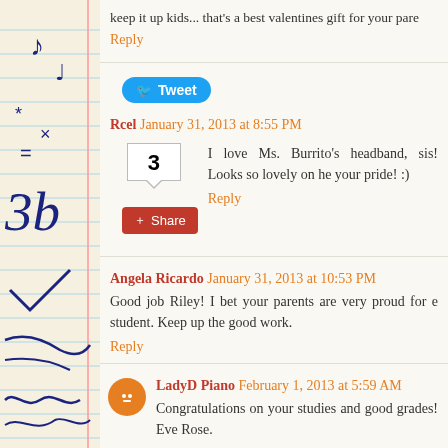keep it up kids... that's a best valentines gift for your pare
Reply
Tweet
Rcel  January 31, 2013 at 8:55 PM
I love Ms. Burrito's headband, sis! Looks so lovely on he your pride! :)
Reply
Angela Ricardo  January 31, 2013 at 10:53 PM
Good job Riley! I bet your parents are very proud for e student. Keep up the good work.
Reply
LadyD Piano  February 1, 2013 at 5:59 AM
Congratulations on your studies and good grades! Eve Rose.
Reply